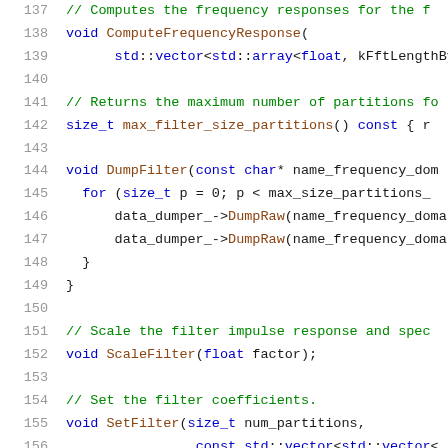[Figure (screenshot): Source code listing lines 137-157 showing C++ class methods: ComputeFrequencyResponse, max_filter_size_partitions, DumpFilter, ScaleFilter, and SetFilter with syntax highlighting in monospace font.]